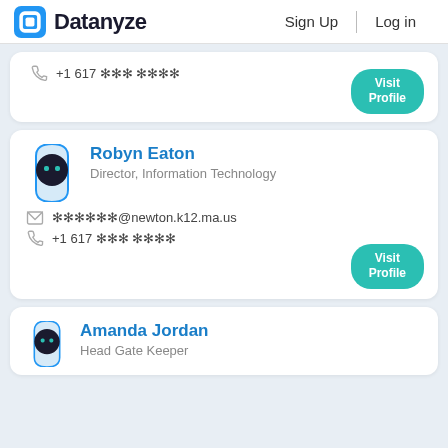Datanyze | Sign Up | Log in
+1 617 *** ****
Visit Profile
Robyn Eaton
Director, Information Technology
✉ ******@newton.k12.ma.us
+1 617 *** ****
Visit Profile
Amanda Jordan
Head Gate Keeper